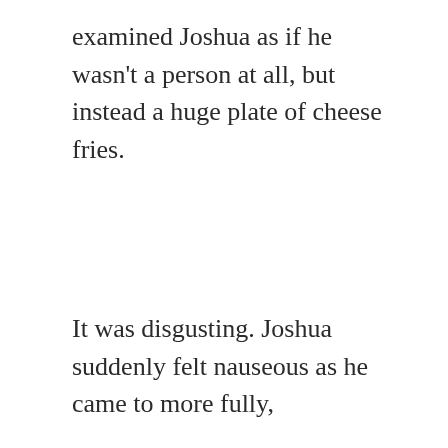examined Joshua as if he wasn't a person at all, but instead a huge plate of cheese fries.
It was disgusting. Joshua suddenly felt nauseous as he came to more fully,